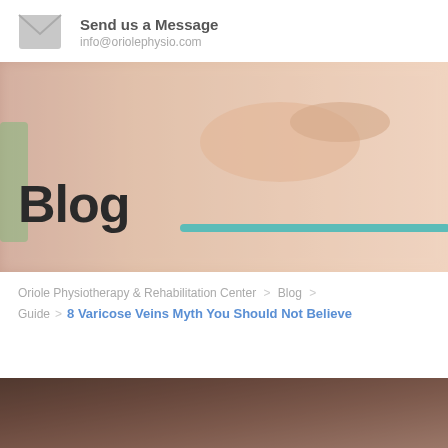Send us a Message
info@oriolephysio.com
[Figure (photo): Hero banner image showing a hand with a teal resistance band, with large bold text 'Blog' overlaid on a blurred peach/skin-tone background]
Oriole Physiotherapy & Rehabilitation Center > Blog >
Guide > 8 Varicose Veins Myth You Should Not Believe
[Figure (photo): Partial image of a person's skin/body visible at the bottom of the page]